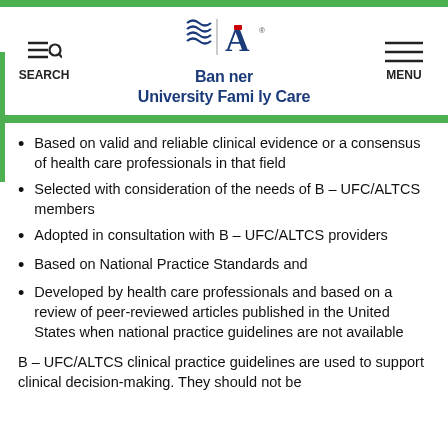Banner University Family Care
Based on valid and reliable clinical evidence or a consensus of health care professionals in that field
Selected with consideration of the needs of B – UFC/ALTCS members
Adopted in consultation with B – UFC/ALTCS providers
Based on National Practice Standards and
Developed by health care professionals and based on a review of peer-reviewed articles published in the United States when national practice guidelines are not available
B – UFC/ALTCS clinical practice guidelines are used to support clinical decision-making. They should not be